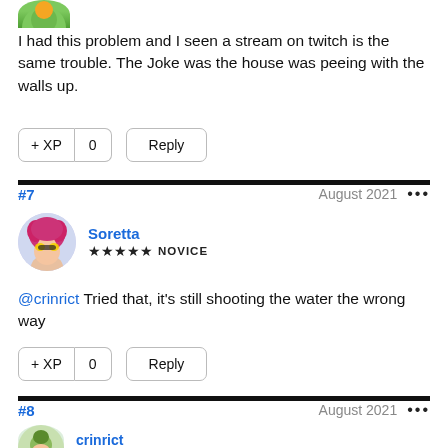[Figure (illustration): Circular avatar icon, partially visible at top, showing a cartoon character with colorful appearance]
I had this problem and I seen a stream on twitch is the same trouble. The Joke was the house was peeing with the walls up.
+ XP  0   Reply
#7   August 2021   •••
[Figure (illustration): Circular avatar of Soretta, cartoon character with pink/red afro hair and yellow sunglasses]
Soretta
★★★★★ NOVICE
@crinrict Tried that, it's still shooting the water the wrong way
+ XP  0   Reply
#8   August 2021   •••
[Figure (illustration): Circular avatar of crinrict, partially visible at bottom]
crinrict